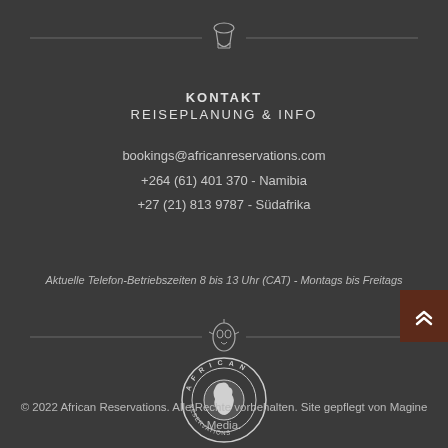[Figure (illustration): Decorative horizontal divider with a stylized drum/djembe icon in the center, flanked by horizontal lines]
KONTAKT
REISEPLANUNG & INFO
bookings@africanreservations.com
+264 (61) 401 370 - Namibia
+27 (21) 813 9787 - Südafrika
Aktuelle Telefon-Betriebszeiten 8 bis 13 Uhr (CAT) - Montags bis Freitags
[Figure (illustration): Decorative horizontal divider with a stylized African mask/face icon in the center, flanked by horizontal lines]
[Figure (logo): African Reservations circular logo with globe and Africa continent silhouette, text around the circumference reading AFRICAN RESERVATIONS]
© 2022 African Reservations. Alle Rechte vorbehalten. Site gepflegt von Magine Media.